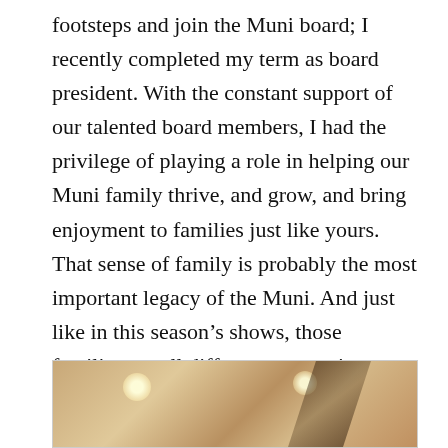footsteps and join the Muni board; I recently completed my term as board president. With the constant support of our talented board members, I had the privilege of playing a role in helping our Muni family thrive, and grow, and bring enjoyment to families just like yours. That sense of family is probably the most important legacy of the Muni. And just like in this season's shows, those families are all different – sometimes quite unconventional. But on our stage, on our staffs and crews, and in our audience, families find a place that is always welcoming, always happy to see you, and ready to go the extra mile to make sure you have a great time when you come to visit.
[Figure (photo): Bottom portion of a photo showing what appears to be a theatrical stage or interior space with warm golden/tan tones, recessed ceiling lights visible, and diagonal dark striped element.]